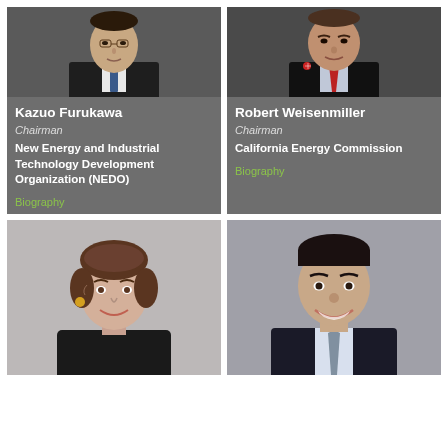[Figure (photo): Portrait photo of Kazuo Furukawa in suit with tie]
Kazuo Furukawa
Chairman
New Energy and Industrial Technology Development Organization (NEDO)
Biography
[Figure (photo): Portrait photo of Robert Weisenmiller in suit with red tie]
Robert Weisenmiller
Chairman
California Energy Commission
Biography
[Figure (photo): Portrait photo of a woman with short brown hair, smiling]
[Figure (photo): Portrait photo of a man in dark suit, smiling]